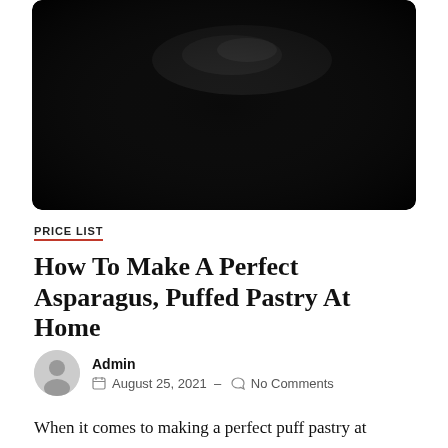[Figure (photo): Dark, moody photograph with black background and faint reflective highlight, rounded corners, likely a food or kitchen scene.]
PRICE LIST
How To Make A Perfect Asparagus, Puffed Pastry At Home
Admin
August 25, 2021 – No Comments
When it comes to making a perfect puff pastry at